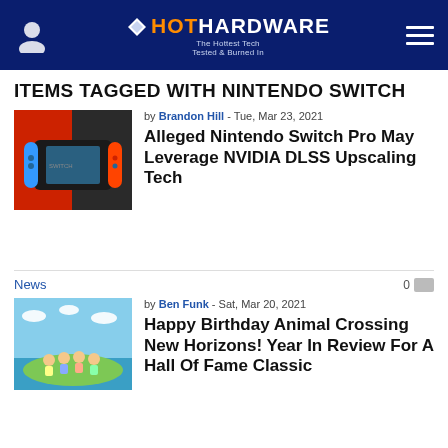HotHardware - The Hottest Tech Tested & Burned In
ITEMS TAGGED WITH NINTENDO SWITCH
[Figure (photo): Nintendo Switch console with blue and red Joy-Con controllers on red background]
by Brandon Hill - Tue, Mar 23, 2021
Alleged Nintendo Switch Pro May Leverage NVIDIA DLSS Upscaling Tech
News
0
[Figure (photo): Animal Crossing New Horizons characters on an island with ocean and sky background]
by Ben Funk - Sat, Mar 20, 2021
Happy Birthday Animal Crossing New Horizons! Year In Review For A Hall Of Fame Classic